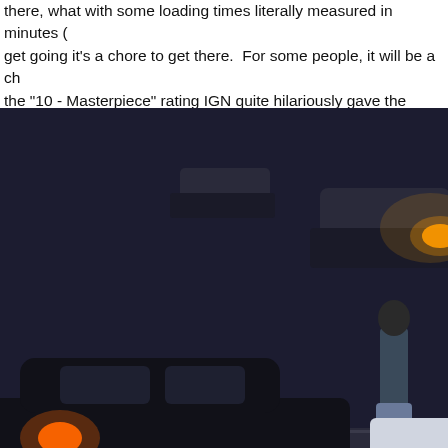there, what with some loading times literally measured in minutes (get going it's a chore to get there. For some people, it will be a ch the "10 - Masterpiece" rating IGN quite hilariously gave the game, a
[Figure (photo): Nighttime parking lot scene with dark cars including a black sports car and a police car labeled '911', with a person standing between them]
Highland Arrow Rebirth v2.8 2021-06-06
About Us • Review Policy • Advertising Policy • Write for Us
Community Guidelines • Privacy Policy • Public Relations
Full Disclosure • Syndication